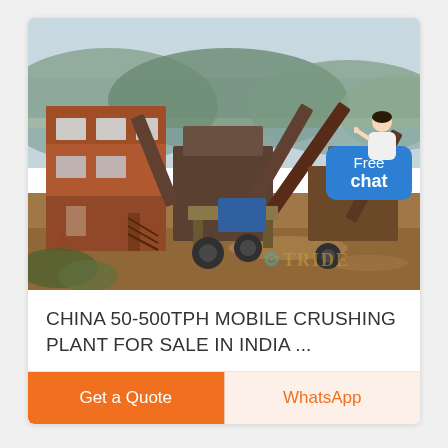[Figure (photo): A mobile crushing plant on a riverbank in India/China. Rusted orange industrial machinery, conveyor belts, and a control cabin structure visible. Background shows green-forested hills and overcast sky. 'TRIDE' watermark visible in lower right of photo.]
CHINA 50-500TPH MOBILE CRUSHING PLANT FOR SALE IN INDIA ...
Get a Quote
WhatsApp